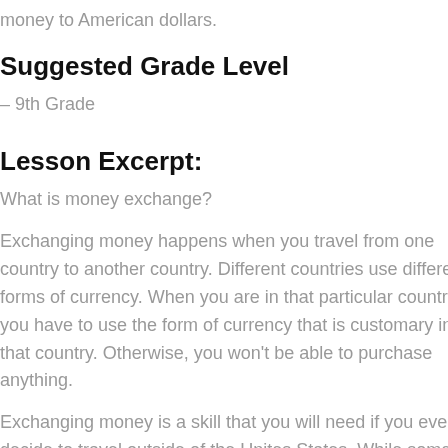money to American dollars.
Suggested Grade Level
– 9th Grade
Lesson Excerpt:
What is money exchange?
Exchanging money happens when you travel from one country to another country. Different countries use different forms of currency. When you are in that particular country, you have to use the form of currency that is customary in that country. Otherwise, you won't be able to purchase anything.
Exchanging money is a skill that you will need if you ever decide to travel outside of the Unites States. While some other countries do accept American money, most will make